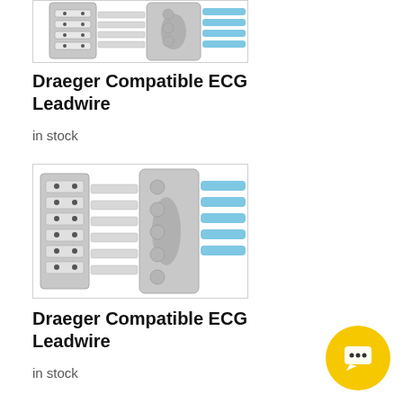[Figure (illustration): ECG leadwire connector illustration showing a gray multi-pin connector block with blue wires/cables on the right side, partially visible at top of page]
Draeger Compatible ECG Leadwire
in stock
[Figure (illustration): ECG leadwire connector illustration showing a gray rectangular module with 5 rows of pin slots on the left, connected to a central gray body with circular buttons, and blue flat cables extending to the right]
Draeger Compatible ECG Leadwire
in stock